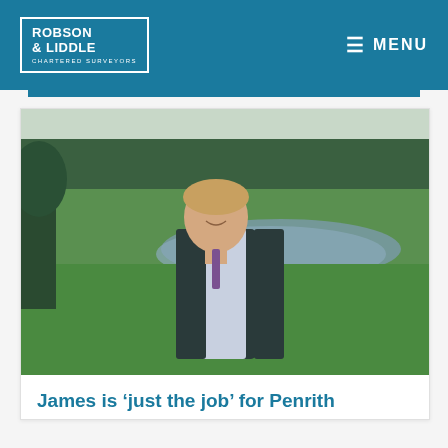ROBSON & LIDDLE CHARTERED SURVEYORS | MENU
[Figure (photo): Man in dark green fleece vest and shirt smiling outdoors in a rural field with a pond and trees in background]
James is ‘just the job’ for Penrith